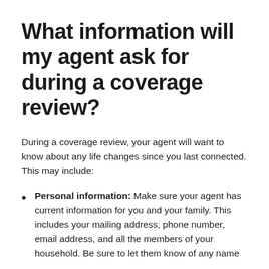What information will my agent ask for during a coverage review?
During a coverage review, your agent will want to know about any life changes since you last connected. This may include:
Personal information: Make sure your agent has current information for you and your family. This includes your mailing address, phone number, email address, and all the members of your household. Be sure to let them know of any name